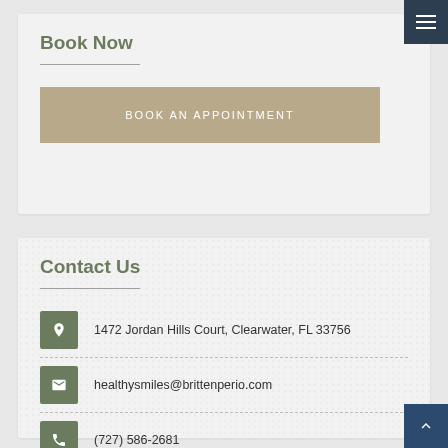Book Now
BOOK AN APPOINTMENT
Contact Us
1472 Jordan Hills Court, Clearwater, FL 33756
healthysmiles@brittenperio.com
(727) 586-2681